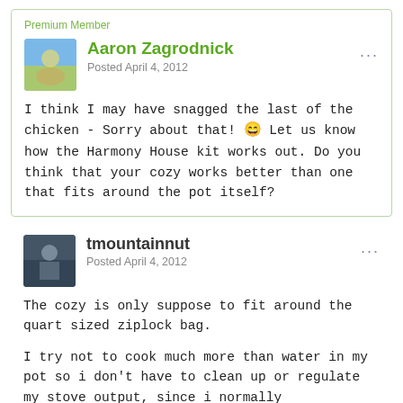Premium Member
Aaron Zagrodnick
Posted April 4, 2012
I think I may have snagged the last of the chicken - Sorry about that! 😄 Let us know how the Harmony House kit works out. Do you think that your cozy works better than one that fits around the pot itself?
tmountainnut
Posted April 4, 2012
The cozy is only suppose to fit around the quart sized ziplock bag.
I try not to cook much more than water in my pot so i don't have to clean up or regulate my stove output, since i normally